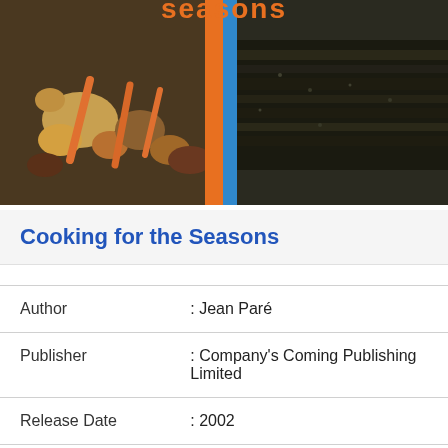[Figure (photo): Book cover of 'Cooking for the Seasons' by Jean Paré, Special Occasion Series. Shows food photography with mushrooms, carrots and other vegetables on the left side, and a herb-crusted meat dish on the right, with an orange and blue vertical stripe dividing them.]
Cooking for the Seasons
| Author | : Jean Paré |
| Publisher | : Company's Coming Publishing Limited |
| Release Date | : 2002 |
| ISBN 10 | : 189545591X |
| Pages | : 191 pages |